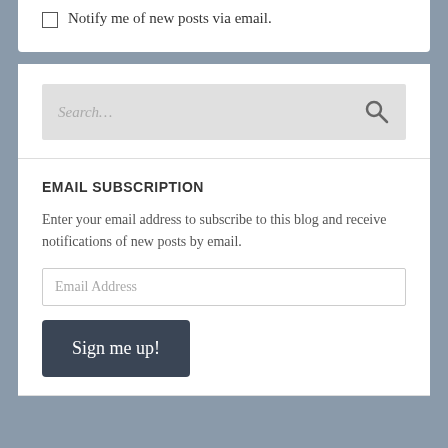Notify me of new posts via email.
[Figure (screenshot): Search bar with placeholder text 'Search...' and a search icon on the right]
EMAIL SUBSCRIPTION
Enter your email address to subscribe to this blog and receive notifications of new posts by email.
Email Address
Sign me up!